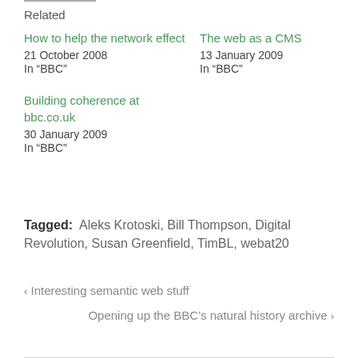Related
How to help the network effect
21 October 2008
In "BBC"
The web as a CMS
13 January 2009
In "BBC"
Building coherence at bbc.co.uk
30 January 2009
In "BBC"
Tagged: Aleks Krotoski, Bill Thompson, Digital Revolution, Susan Greenfield, TimBL, webat20
< Interesting semantic web stuff
Opening up the BBC’s natural history archive >